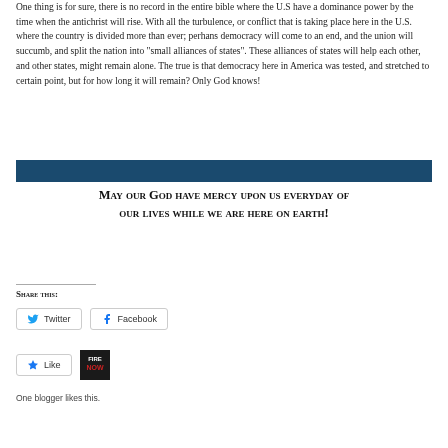One thing is for sure, there is no record in the entire bible where the U.S have a dominance power by the time when the antichrist will rise. With all the turbulence, or conflict that is taking place here in the U.S. where the country is divided more than ever; perhans democracy will come to an end, and the union will succumb, and split the nation into “small alliances of states”. These alliances of states will help each other, and other states, might remain alone. The true is that democracy here in America was tested, and stretched to certain point, but for how long it will remain? Only God knows!
May our God have mercy upon us everyday of our lives while we are here on earth!
Share this:
[Figure (other): Twitter share button]
[Figure (other): Facebook share button]
[Figure (other): Like button and NOW image widget]
One blogger likes this.